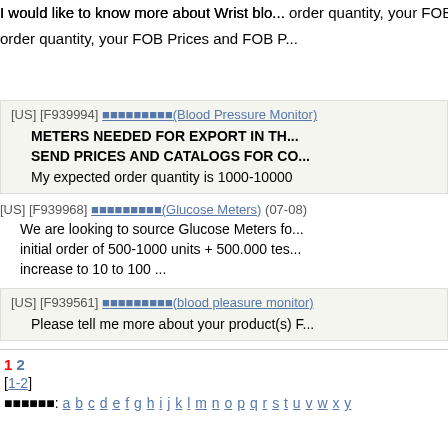I would like to know more about Wrist blo... order quantity, your FOB Prices and FOB P...
[US] [F939994] ■■■■■■■■■(Blood Pressure Monitor)
METERS NEEDED FOR EXPORT IN TH... SEND PRICES AND CATALOGS FOR CO... My expected order quantity is 1000-10000
[US] [F939968] ■■■■■■■■■(Glucose Meters) (07-08)
We are looking to source Glucose Meters fo... initial order of 500-1000 units + 500.000 tes... increase to 10 to 100 ...
[US] [F939561] ■■■■■■■■■(blood pleasure monitor)
Please tell me more about your product(s) F...
1 2 [1-2]
■■■■■■: a b c d e f g h i j k l m n o p q r s t u v w x y